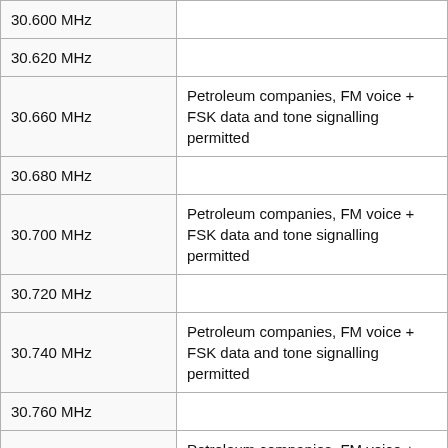| Frequency | Description |
| --- | --- |
| 30.600 MHz |  |
| 30.620 MHz |  |
| 30.660 MHz | Petroleum companies, FM voice + FSK data and tone signalling permitted |
| 30.680 MHz |  |
| 30.700 MHz | Petroleum companies, FM voice + FSK data and tone signalling permitted |
| 30.720 MHz |  |
| 30.740 MHz | Petroleum companies, FM voice + FSK data and tone signalling permitted |
| 30.760 MHz |  |
| 30.780 MHz | Petroleum companies, FM voice + FSK data and tone signalling permitted |
| 30.800 MHz |  |
| 30.820 MHz | Petroleum companies, FM voice + FSK data and tone signalling permitted |